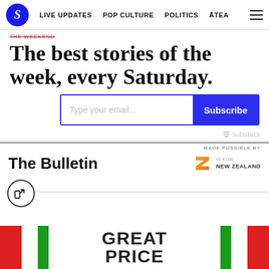S  LIVE UPDATES  POP CULTURE  POLITICS  ĀTEA  ≡
THE WEEKEND
The best stories of the week, every Saturday.
Type your email...  Subscribe
substack
MADE POSSIBLE BY
The Bulletin
[Figure (logo): Z IS FOR NEW ZEALAND logo with orange/yellow Z shape]
[Figure (photo): Partial image showing text GREAT PRICE on a red and green circular badge/sticker]